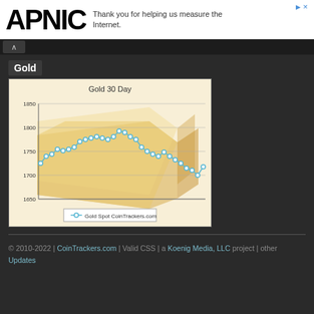APNIC — Thank you for helping us measure the Internet.
Gold
[Figure (line-chart): Gold 30 Day line chart with gold bar background image, showing gold spot price from CoinTrackers.com ranging approximately 1700-1850]
© 2010-2022 | CoinTrackers.com | Valid CSS | a Koenig Media, LLC project | other Updates